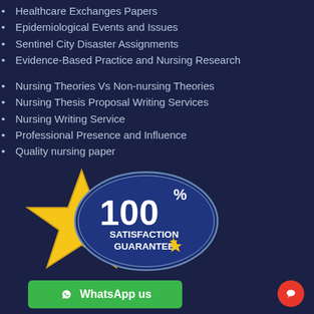Healthcare Exchanges Papers
Epidemiological Events and Issues
Sentinel City Disaster Assignments
Evidence-Based Practice and Nursing Research
Nursing Theories Vs Non-nursing Theories
Nursing Thesis Proposal Writing Services
Nursing Writing Service
Professional Presence and Influence
Quality nursing paper
[Figure (infographic): 100% Satisfaction Guarantee badge with gold star and blue oval, WhatsApp us green button, and red chat bubble icon]